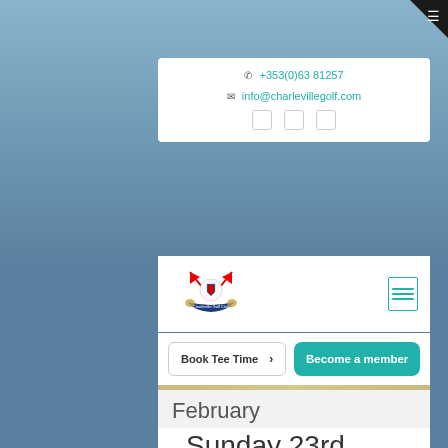☎ +353(0)63 81257
✉ info@charlevillegolf.com
[Figure (logo): Charleville Golf Club logo with golf ball, flags and banner]
Book Tee Time →
Become a member
February
24th February 2020
Sunday 23rd